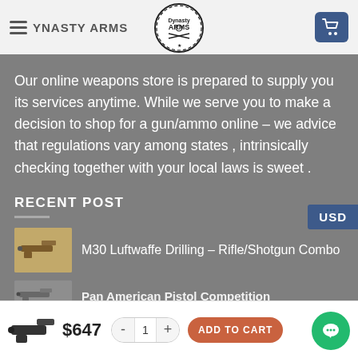DYNASTY ARMS
Our online weapons store is prepared to supply you its services anytime. While we serve you to make a decision to shop for a gun/ammo online – we advice that regulations vary among states , intrinsically checking together with your local laws is sweet .
RECENT POST
M30 Luftwaffe Drilling – Rifle/Shotgun Combo
Pan American Pistol Competition
$647
ADD TO CART